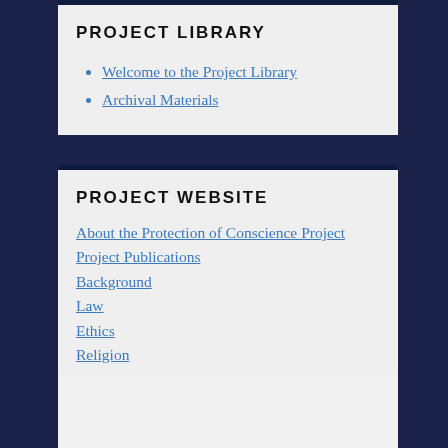PROJECT LIBRARY
Welcome to the Project Library
Archival Materials
PROJECT WEBSITE
About the Protection of Conscience Project
Project Publications
Background
Law
Ethics
Religion